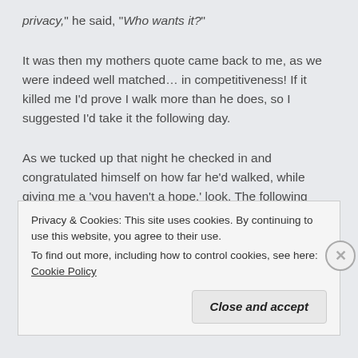privacy," he said, "Who wants it?"
It was then my mothers quote came back to me, as we were indeed well matched… in competitiveness! If it killed me I'd prove I walk more than he does, so I suggested I'd take it the following day.
As we tucked up that night he checked in and congratulated himself on how far he'd walked, while giving me a 'you haven't a hope,' look. The following morning first thing he checked it yet again,
Privacy & Cookies: This site uses cookies. By continuing to use this website, you agree to their use.
To find out more, including how to control cookies, see here: Cookie Policy
Close and accept